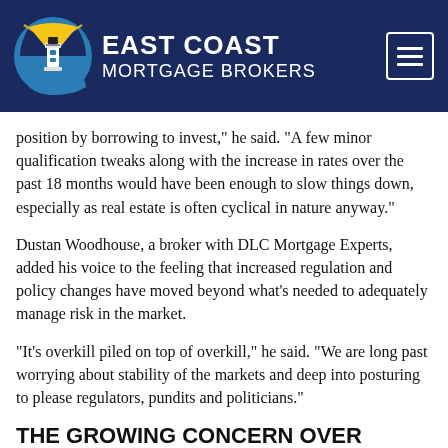[Figure (logo): East Coast Mortgage Brokers logo with lighthouse icon in circular badge and navigation hamburger menu button on dark navy header bar]
position by borrowing to invest," he said. "A few minor qualification tweaks along with the increase in rates over the past 18 months would have been enough to slow things down, especially as real estate is often cyclical in nature anyway."
Dustan Woodhouse, a broker with DLC Mortgage Experts, added his voice to the feeling that increased regulation and policy changes have moved beyond what's needed to adequately manage risk in the market.
"It's overkill piled on top of overkill," he said. "We are long past worrying about stability of the markets and deep into posturing to please regulators, pundits and politicians."
THE GROWING CONCERN OVER HELOCS
There had been signs that HELOCs were becoming the next